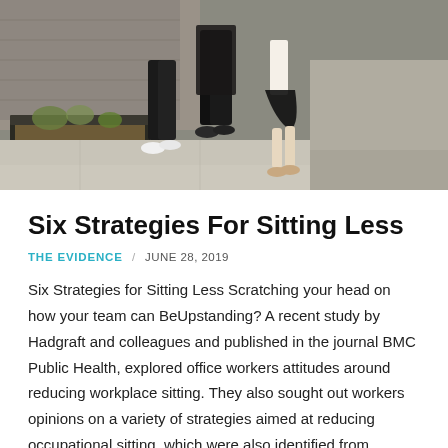[Figure (photo): Three people walking together on a sidewalk, wearing dark clothing, photographed from the waist down. Urban street scene with a brick wall and trees visible in the background.]
Six Strategies For Sitting Less
THE EVIDENCE / JUNE 28, 2019
Six Strategies for Sitting Less Scratching your head on how your team can BeUpstanding? A recent study by Hadgraft and colleagues and published in the journal BMC Public Health, explored office workers attitudes around reducing workplace sitting. They also sought out workers opinions on a variety of strategies aimed at reducing occupational sitting, which were also identified from previous studies into interventions and